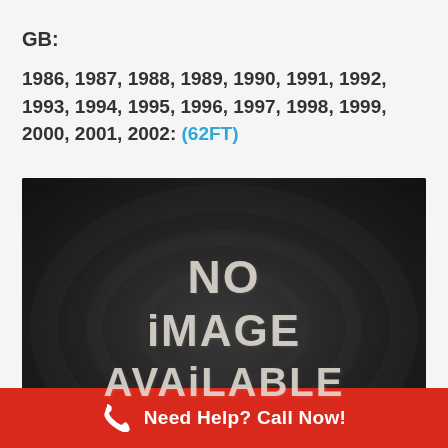GB:
1986, 1987, 1988, 1989, 1990, 1991, 1992, 1993, 1994, 1995, 1996, 1997, 1998, 1999, 2000, 2001, 2002: (62FT)
[Figure (photo): A chalkboard-style placeholder image with the text 'NO IMAGE AVAILABLE' written in chalk lettering on a dark background]
Need Help? Call Now!